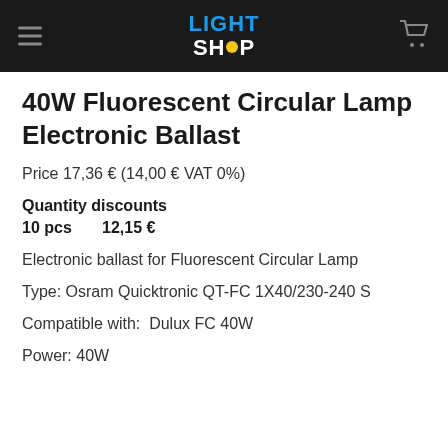LIGHT SHOP
40W Fluorescent Circular Lamp Electronic Ballast
Price 17,36 € (14,00 € VAT 0%)
Quantity discounts
10 pcs    12,15 €
Electronic ballast for Fluorescent Circular Lamp
Type: Osram Quicktronic QT-FC 1X40/230-240 S
Compatible with: Dulux FC 40W
Power: 40W